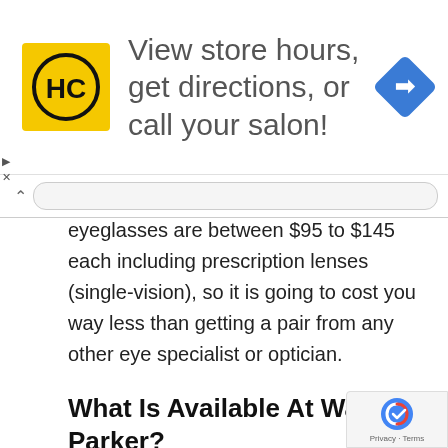[Figure (screenshot): Advertisement banner with HC logo (yellow background with black HC letters in a circle), text 'View store hours, get directions, or call your salon!', and a blue navigation/directions diamond icon on the right. Small play and close arrows on the left edge.]
eyeglasses are between $95 to $145 each including prescription lenses (single-vision), so it is going to cost you way less than getting a pair from any other eye specialist or optician.
What Is Available At Warby Parker?
With regards to outline styles, there's no deficiency of determination at Warby Parker. You'll discover many alternatives for people. Edges are accessible in up to 13 distinct shadings